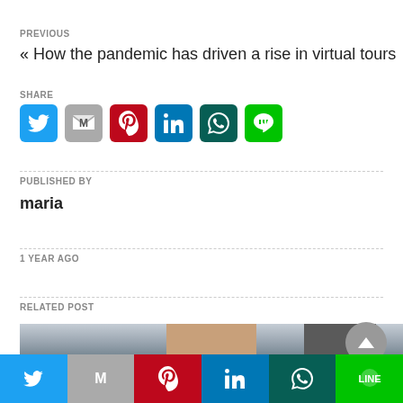PREVIOUS
« How the pandemic has driven a rise in virtual tours
SHARE
[Figure (infographic): Six social share icon buttons: Twitter (blue), Gmail (grey), Pinterest (red), LinkedIn (blue), WhatsApp (dark teal), Line (green)]
PUBLISHED BY
maria
1 YEAR AGO
RELATED POST
[Figure (photo): Photo of people, partially visible, cropped at bottom of page]
[Figure (infographic): Bottom share bar with six icons: Twitter, Gmail, Pinterest, LinkedIn, WhatsApp, Line]